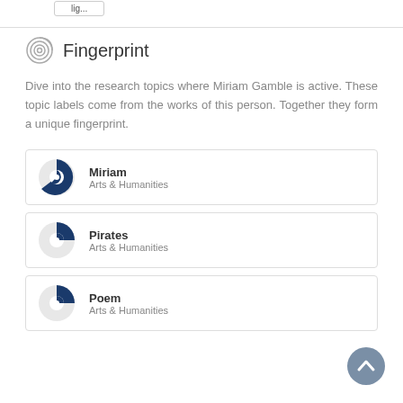Fingerprint
Dive into the research topics where Miriam Gamble is active. These topic labels come from the works of this person. Together they form a unique fingerprint.
Miriam — Arts & Humanities
Pirates — Arts & Humanities
Poem — Arts & Humanities